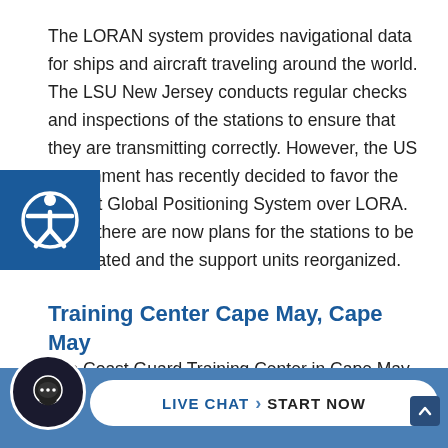The LORAN system provides navigational data for ships and aircraft traveling around the world. The LSU New Jersey conducts regular checks and inspections of the stations to ensure that they are transmitting correctly. However, the US government has recently decided to favor the current Global Positioning System over LORA. Thus, there are now plans for the stations to be terminated and the support units reorganized.
Training Center Cape May, Cape May
The Coast Guard Training Center in Cape May, New Jersey is the main training center for all recruits coming into the US Coast Guard. Here, trainees are taught the basic courses needed to conduct duties as a...